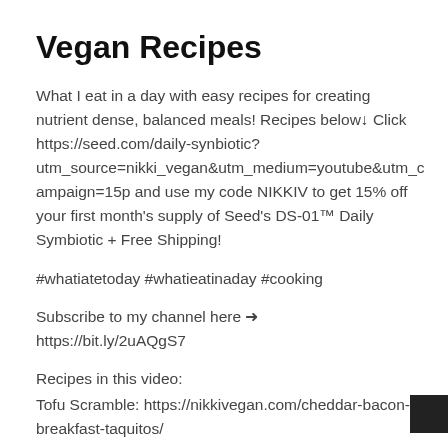Vegan Recipes
What I eat in a day with easy recipes for creating nutrient dense, balanced meals! Recipes below↓ Click https://seed.com/daily-synbiotic?utm_source=nikki_vegan&utm_medium=youtube&utm_campaign=15p and use my code NIKKIV to get 15% off your first month's supply of Seed's DS-01™ Daily Symbiotic + Free Shipping!
#whatiatetoday #whatieatinaday #cooking
Subscribe to my channel here ➜ https://bit.ly/2uAQgS7
Recipes in this video:
Tofu Scramble: https://nikkivegan.com/cheddar-bacon-breakfast-taquitos/